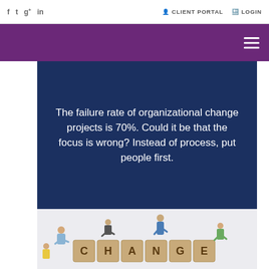f  t  g+  in    CLIENT PORTAL    LOGIN
[Figure (other): Purple header band with hamburger menu icon on the right]
The failure rate of organizational change projects is 70%. Could it be that the focus is wrong? Instead of process, put people first.
[Figure (photo): Miniature figurines of people working together on wooden blocks spelling CHANGE]